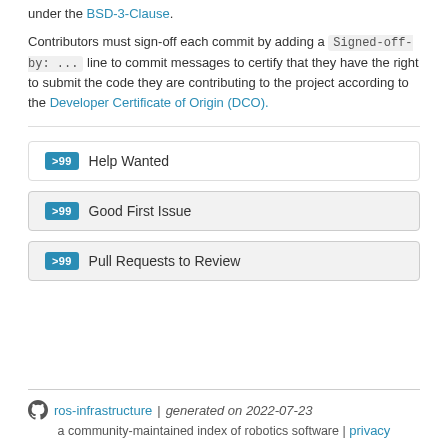under the BSD-3-Clause.
Contributors must sign-off each commit by adding a Signed-off-by: ... line to commit messages to certify that they have the right to submit the code they are contributing to the project according to the Developer Certificate of Origin (DCO).
[Figure (infographic): Three badge-style rows showing: '>99 Help Wanted', '>99 Good First Issue', '>99 Pull Requests to Review']
ros-infrastructure | generated on 2022-07-23
a community-maintained index of robotics software | privacy